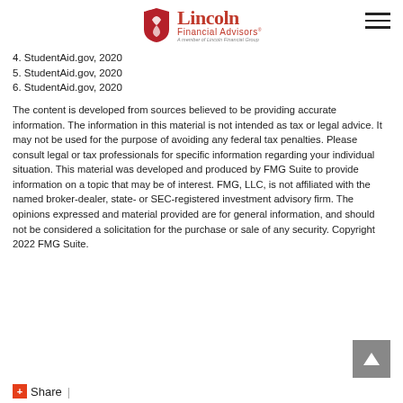[Figure (logo): Lincoln Financial Advisors logo with red shield icon, red text reading 'Lincoln Financial Advisors' and tagline 'A member of Lincoln Financial Group']
4. StudentAid.gov, 2020
5. StudentAid.gov, 2020
6. StudentAid.gov, 2020
The content is developed from sources believed to be providing accurate information. The information in this material is not intended as tax or legal advice. It may not be used for the purpose of avoiding any federal tax penalties. Please consult legal or tax professionals for specific information regarding your individual situation. This material was developed and produced by FMG Suite to provide information on a topic that may be of interest. FMG, LLC, is not affiliated with the named broker-dealer, state- or SEC-registered investment advisory firm. The opinions expressed and material provided are for general information, and should not be considered a solicitation for the purchase or sale of any security. Copyright 2022 FMG Suite.